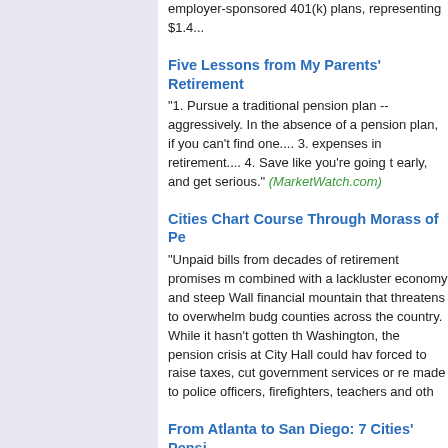employer-sponsored 401(k) plans, representing $1.4...
Five Lessons from My Parents' Retirement
"1. Pursue a traditional pension plan -- aggressively. In the absence of a pension plan, if you can't find one.... 3. expenses in retirement.... 4. Save like you're going to early, and get serious." (MarketWatch.com)
Cities Chart Course Through Morass of P
"Unpaid bills from decades of retirement promises m combined with a lackluster economy and steep Wall financial mountain that threatens to overwhelm budg counties across the country. While it hasn't gotten th Washington, the pension crisis at City Hall could hav forced to raise taxes, cut government services or re made to police officers, firefighters, teachers and oth
From Atlanta to San Diego: 7 Cities' Pensi
"Atlanta: The city faces an unfunded pension liability estimate.... Chicago: The city's six pension funds are have a current unfunded liability of $26.8 billion.... Ph pension liability was $4.5 billion as of July 1, 2012.... investments tumbled nearly 20 percent in 2009, raisi from $1.3 billion to $2.11 billion." (ABC News)
PBGC Holding $200 Million in Unclaimed...